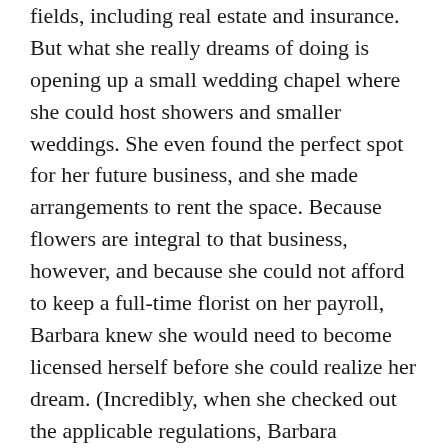fields, including real estate and insurance. But what she really dreams of doing is opening up a small wedding chapel where she could host showers and smaller weddings. She even found the perfect spot for her future business, and she made arrangements to rent the space. Because flowers are integral to that business, however, and because she could not afford to keep a full-time florist on her payroll, Barbara knew she would need to become licensed herself before she could realize her dream. (Incredibly, when she checked out the applicable regulations, Barbara discovered that it would be far easier for her to obtain all the necessary permits to prepare and serve food at her wedding chapel than it would be for her to get a florist license.)
Like Shamille, Barbara signed up for classes at a local community college. Three nights a week for nine weeks, she studied floral design—and not just floral design.